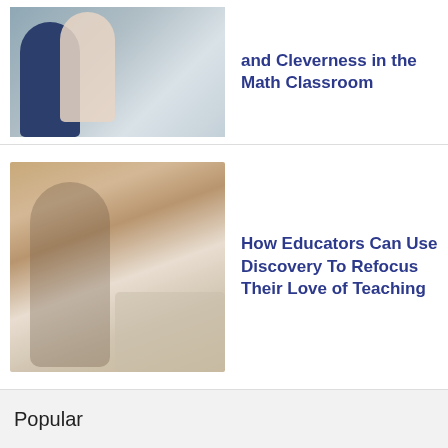[Figure (photo): People working at a whiteboard, partially cropped at top]
and Cleverness in the Math Classroom
[Figure (photo): A woman with curly hair sitting at a desk writing, with a laptop in front of her]
How Educators Can Use Discovery To Refocus Their Love of Teaching
Popular
Get Fresh Ideas by Email
Join thousands of educators who